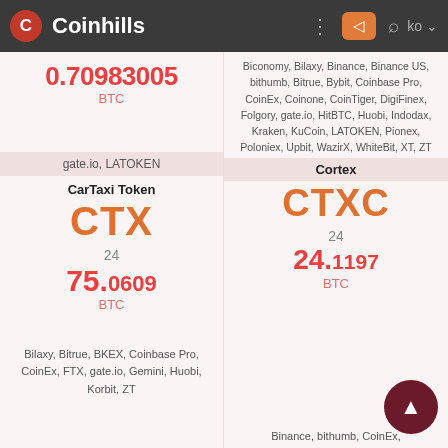Coinhills
0.70983005 BTC
gate.io, LATOKEN
CarTaxi Token
CTX
24
75.0609 BTC
Bilaxy, Bitrue, BKEX, Coinbase Pro, CoinEx, FTX, gate.io, Gemini, Huobi, Korbit, ZT
Biconomy, Bilaxy, Binance, Binance US, bithumb, Bitrue, Bybit, Coinbase Pro, CoinEx, Coinone, CoinTiger, DigiFinex, Folgory, gate.io, HitBTC, Huobi, Indodax, Kraken, KuCoin, LATOKEN, Pionex, Poloniex, Upbit, WazirX, WhiteBit, XT, ZT
Cortex
CTXC
24
24.1197 BTC
Binance, bithumb, CoinEx,